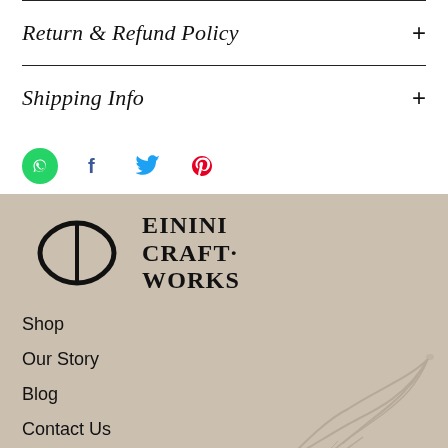Return & Refund Policy
Shipping Info
[Figure (infographic): Social media icons: WhatsApp (green), Facebook (blue f), Twitter (blue bird), Pinterest (red P)]
[Figure (logo): Einini Craft Works logo with stylized 'ec' letterform and brand name text]
Shop
Our Story
Blog
Contact Us
FAQ